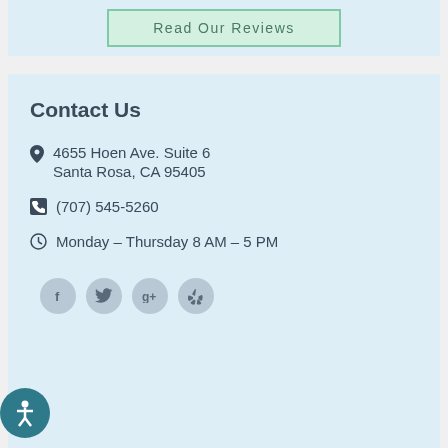Read Our Reviews
Contact Us
4655 Hoen Ave. Suite 6
Santa Rosa, CA 95405
(707) 545-5260
Monday – Thursday 8 AM – 5 PM
[Figure (other): Social media icons: Facebook, Twitter, Google+, Yelp]
[Figure (other): Accessibility button icon (person figure in circle)]